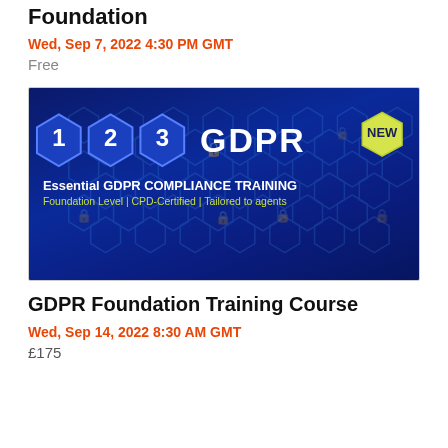Foundation
Wed, Sep 7, 2022 4:30 PM GMT
Free
[Figure (illustration): 1 2 3 GDPR Essential GDPR Compliance Training banner. Foundation Level | CPD-Certified | Tailored to agents. LonRes GDPR Services in partnership with experts iCompli. Blue hexagon background with lock icons, numbered hexagons 1, 2, 3, GDPR text, and NEW badge.]
GDPR Foundation Training Course
Wed, Sep 14, 2022 8:30 AM GMT
£175